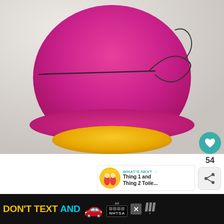[Figure (photo): Close-up photo of a bright magenta/pink felted wool hat being sewn with a needle and wire, placed over a yellow felted base, on a light marble/stone background.]
54
WHAT'S NEXT → Thing 1 and Thing 2 Toile...
Use a needle and thread to weave through the
DON'T TEXT AND
Ad by NHTSA